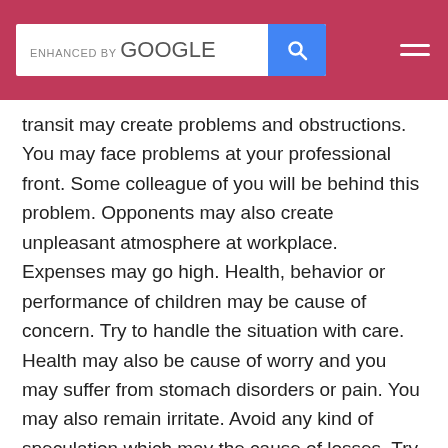ENHANCED BY Google [search bar with blue search button] [hamburger menu]
transit may create problems and obstructions. You may face problems at your professional front. Some colleague of you will be behind this problem. Opponents may also create unpleasant atmosphere at workplace. Expenses may go high. Health, behavior or performance of children may be cause of concern. Try to handle the situation with care. Health may also be cause of worry and you may suffer from stomach disorders or pain. You may also remain irritate. Avoid any kind of speculation which may the cause of losses. Try to keep righteous path.
FOR CANCER MOON SIGN
Mars will be transiting your fourth house from your natal Moon. Generally this period will give positive results. Relatives and friend circle may come forward at the time